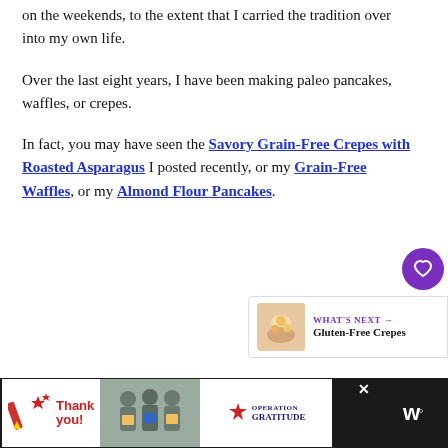on the weekends, to the extent that I carried the tradition over into my own life.
Over the last eight years, I have been making paleo pancakes, waffles, or crepes.
In fact, you may have seen the Savory Grain-Free Crepes with Roasted Asparagus I posted recently, or my Grain-Free Waffles, or my Almond Flour Pancakes.
[Figure (other): Purple heart favorite button (circle icon)]
[Figure (other): Share button (circle icon with share symbol)]
[Figure (other): What's Next panel showing Gluten-Free Crepes with thumbnail image]
[Figure (other): Advertisement banner: Operation Gratitude thank you ad with photo of people holding packages, on dark background with brand logo]